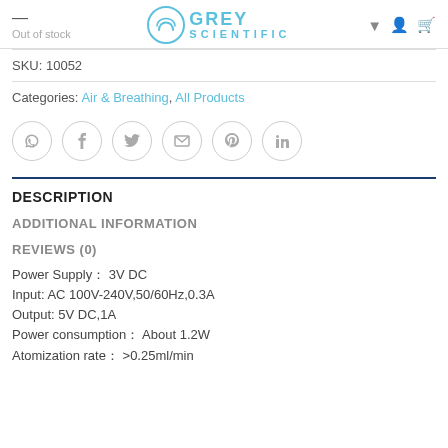Out of stock | GREY SCIENTIFIC
SKU: 10052
Categories: Air & Breathing, All Products
[Figure (other): Social share icons: WhatsApp, Facebook, Twitter, Email, Pinterest, LinkedIn]
DESCRIPTION
ADDITIONAL INFORMATION
REVIEWS (0)
Power Supply： 3V DC
Input: AC 100V-240V,50/60Hz,0.3A
Output: 5V DC,1A
Power consumption： About 1.2W
Atomization rate： >0.25ml/min